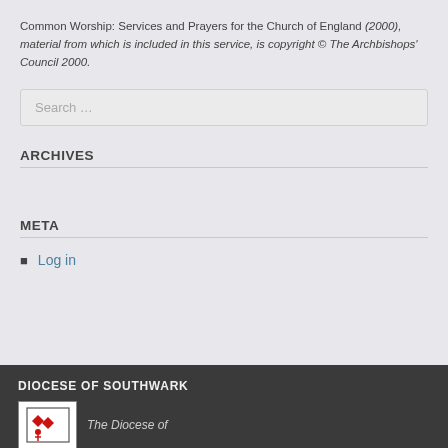Common Worship: Services and Prayers for the Church of England (2000), material from which is included in this service, is copyright © The Archbishops' Council 2000.
[Figure (other): Search input box with placeholder text 'Search ...']
ARCHIVES
META
Log in
DIOCESE OF SOUTHWARK
[Figure (logo): Diocese of Southwark logo with red diamond shapes and figure, with text 'The Diocese of']